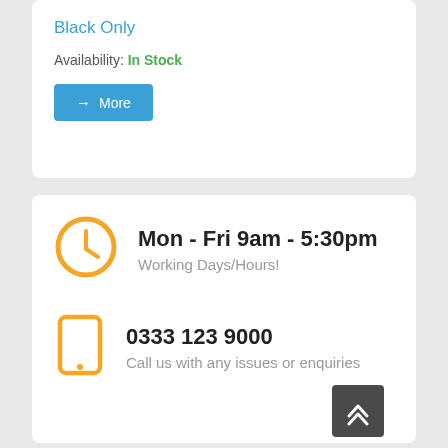Black Only
Availability: In Stock
→ More
Mon - Fri 9am - 5:30pm
Working Days/Hours!
0333 123 9000
Call us with any issues or enquiries